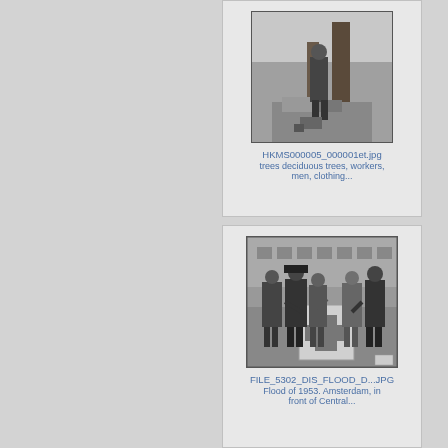[Figure (photo): Black and white photograph showing a person standing near trees, appears to be workers outdoors among deciduous trees]
HKMS000005_000001et.jpg
trees deciduous trees, workers, men, clothing...
[Figure (photo): Black and white photograph showing a group of people gathered around a Red Cross collection box or donation box on a street, Flood of 1953, Amsterdam, in front of Central station]
FILE_5302_DIS_FLOOD_D...JPG
Flood of 1953. Amsterdam, in front of Central...